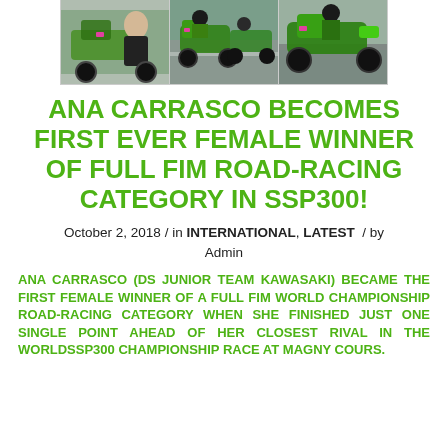[Figure (photo): Three motorsport photos side by side showing Ana Carrasco and Kawasaki racing motorcycles]
ANA CARRASCO BECOMES FIRST EVER FEMALE WINNER OF FULL FIM ROAD-RACING CATEGORY IN SSP300!
October 2, 2018 / in INTERNATIONAL, LATEST / by Admin
ANA CARRASCO (DS JUNIOR TEAM KAWASAKI) BECAME THE FIRST FEMALE WINNER OF A FULL FIM WORLD CHAMPIONSHIP ROAD-RACING CATEGORY WHEN SHE FINISHED JUST ONE SINGLE POINT AHEAD OF HER CLOSEST RIVAL IN THE WORLDSSP300 CHAMPIONSHIP RACE AT MAGNY COURS.